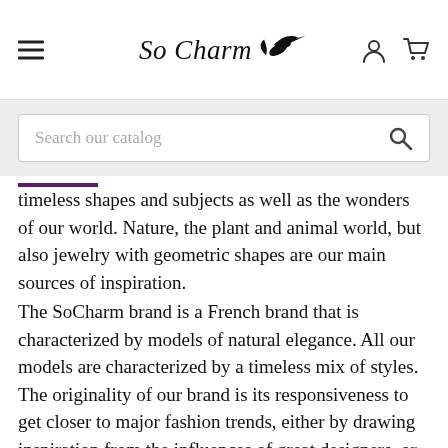So Charm — navigation header with hamburger menu, logo, user and cart icons
Search our catalog
timeless shapes and subjects as well as the wonders of our world. Nature, the plant and animal world, but also jewelry with geometric shapes are our main sources of inspiration.
The SoCharm brand is a French brand that is characterized by models of natural elegance. All our models are characterized by a timeless mix of styles. The originality of our brand is its responsiveness to get closer to major fashion trends, either by drawing inspiration from the influences of great designers, or by deviating from them with creativity and daring.
Since 1999 SoCharm has been innovating, inventing, creating collections with the aim of emphasizing, enhancing and magnifying the femininity, elegance and beauty of women. The SoCharm brand has developed...